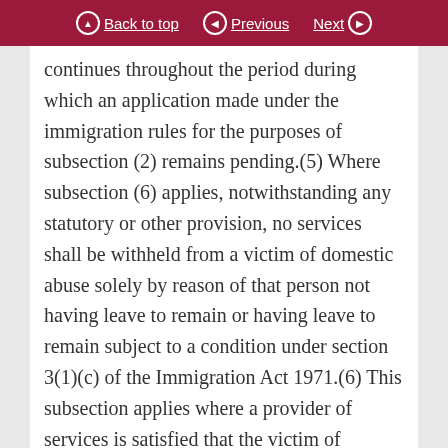Back to top | Previous | Next
continues throughout the period during which an application made under the immigration rules for the purposes of subsection (2) remains pending.(5) Where subsection (6) applies, notwithstanding any statutory or other provision, no services shall be withheld from a victim of domestic abuse solely by reason of that person not having leave to remain or having leave to remain subject to a condition under section 3(1)(c) of the Immigration Act 1971.(6) This subsection applies where a provider of services is satisfied that the victim of domestic abuse is eligible to make an application to which subsection (3) refers.(7) The Secretary of State must, for the purposes of subsection (5), issue guidance to providers of services about the assessment of eligibility to make an application to which